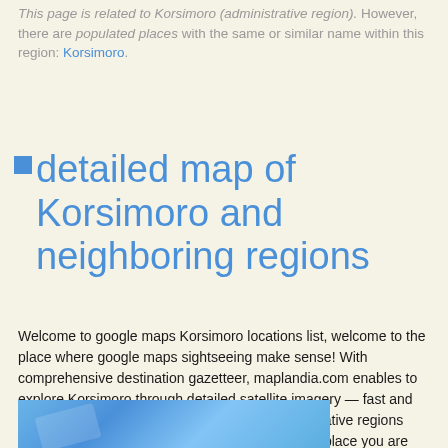This page is related to Korsimoro (administrative region). However, there are populated places with the same or similar name within this region: Korsimoro.
detailed map of Korsimoro and neighboring regions
Welcome to google maps Korsimoro locations list, welcome to the place where google maps sightseeing make sense! With comprehensive destination gazetteer, maplandia.com enables to explore Korsimoro through detailed satellite imagery — fast and easy as never before. Browse the list of administrative regions below and follow the navigation to find populated place you are interested in. You can also take advantage of our two following search bars. Your Korsimoro, Burkina Faso google satellite map sightseeing starts now!
[Figure (map): Satellite map image of Korsimoro region showing blue terrain]